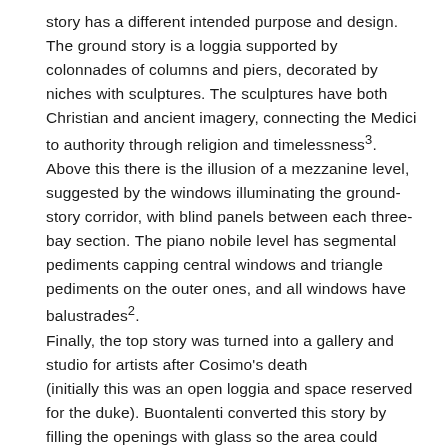story has a different intended purpose and design. The ground story is a loggia supported by colonnades of columns and piers, decorated by niches with sculptures. The sculptures have both Christian and ancient imagery, connecting the Medici to authority through religion and timelessness³. Above this there is the illusion of a mezzanine level, suggested by the windows illuminating the ground-story corridor, with blind panels between each three-bay section. The piano nobile level has segmental pediments capping central windows and triangle pediments on the outer ones, and all windows have balustrades². Finally, the top story was turned into a gallery and studio for artists after Cosimo's death (initially this was an open loggia and space reserved for the duke). Buontalenti converted this story by filling the openings with glass so the area could house sculptures and the like.